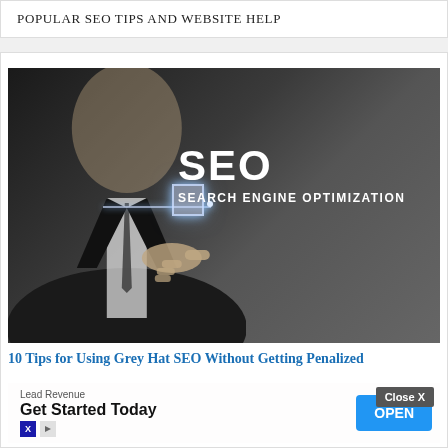POPULAR SEO TIPS AND WEBSITE HELP
[Figure (photo): Person in suit touching an illuminated button with SEO SEARCH ENGINE OPTIMIZATION text on dark background]
10 Tips for Using Grey Hat SEO Without Getting Penalized
[Figure (screenshot): Advertisement overlay with Close X button, Lead Revenue provider, 'Get Started Today' headline, and OPEN button]